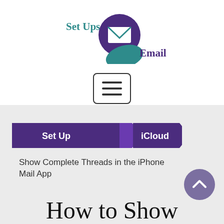[Figure (logo): Set Ups Email logo: teal and purple speech bubble/envelope icon with 'Set Ups' in teal text and 'Email' in purple text]
[Figure (other): Hamburger menu button: rounded rectangle with three horizontal lines]
[Figure (infographic): Breadcrumb navigation bar with dark purple arrow labels: 'Set Up' and 'iCloud']
Show Complete Threads in the iPhone Mail App
How to Show